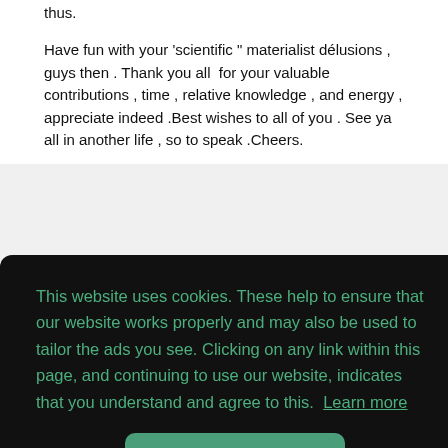thus.
Have fun with your 'scientific " materialist délusions , guys then . Thank you all  for your valuable contributions , time , relative knowledge , and energy , appreciate indeed .Best wishes to all of you . See ya all in another life , so to speak .Cheers.
This website uses cookies. These help to ensure that our website works properly and may also be used to tailor the ads you see. Clicking on any link within this page, and continuing to use our website, indicates that you understand and agree to this.  Learn more
Got it!
Quote from: DonQuichotte on 10/01/2016 20:40:54